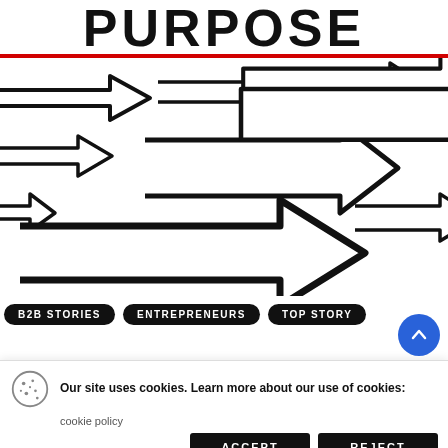PURPOSE
[Figure (illustration): Multiple arrows of various sizes all pointing to the right, drawn in a hand-drawn style with thick black outlines on white background, arranged across the image area.]
B2B STORIES
ENTREPRENEURS
TOP STORY
Our site uses cookies. Learn more about our use of cookies: cookie policy
ACCEPT
REJECT